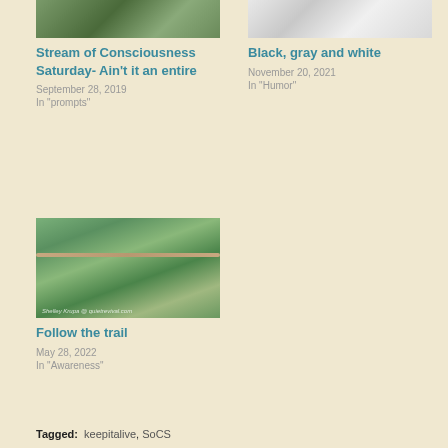[Figure (photo): Partial top image of trees/nature scene (left column)]
Stream of Consciousness Saturday- Ain't it an entire
September 28, 2019
In "prompts"
[Figure (photo): Partial top image of white/gray objects (right column)]
Black, gray and white
November 20, 2021
In "Humor"
[Figure (photo): Photo of water droplets on a wire/branch with green grass background. Watermark: Shelley Krupa @ quietrevival.com]
Follow the trail
May 28, 2022
In "Awareness"
Tagged: keepitalive, SoCS